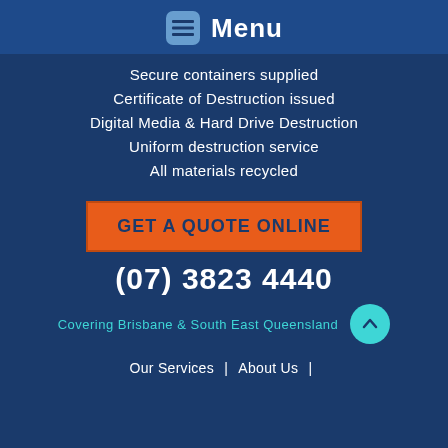Menu
Secure containers supplied
Certificate of Destruction issued
Digital Media & Hard Drive Destruction
Uniform destruction service
All materials recycled
GET A QUOTE ONLINE
(07) 3823 4440
Covering Brisbane & South East Queensland
Our Services | About Us |